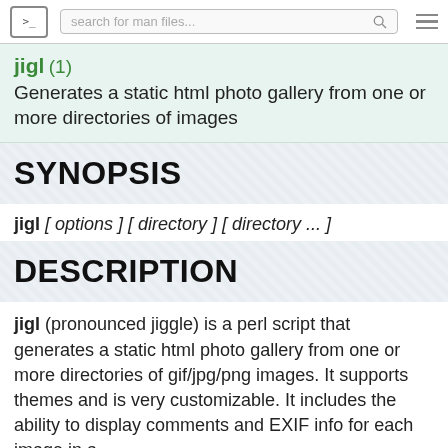>_ search for man files... ≡
jigl (1) Generates a static html photo gallery from one or more directories of images
SYNOPSIS
jigl [ options ] [ directory ] [ directory ... ]
DESCRIPTION
jigl (pronounced jiggle) is a perl script that generates a static html photo gallery from one or more directories of gif/jpg/png images. It supports themes and is very customizable. It includes the ability to display comments and EXIF info for each image in a